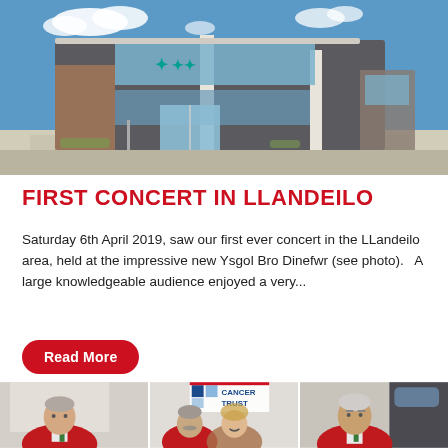[Figure (photo): Exterior photo of Ysgol Bro Dinefwr school building, a modern structure with large glass windows and dark cladding under a blue sky with clouds.]
FIRST CONCERT IN LLANDEILO
Saturday 6th April 2019, saw our first ever concert in the LLandeilo area, held at the impressive new Ysgol Bro Dinefwr (see photo).   A large knowledgeable audience enjoyed a very...
Read More
[Figure (photo): Three panel photo showing people at a Cancer Trust event. Left panel: elderly man in red blazer with green tie. Middle panel: man with grey moustache and a woman smiling, with a Teenage Cancer Trust banner visible. Right panel: older man in red blazer with green tie.]